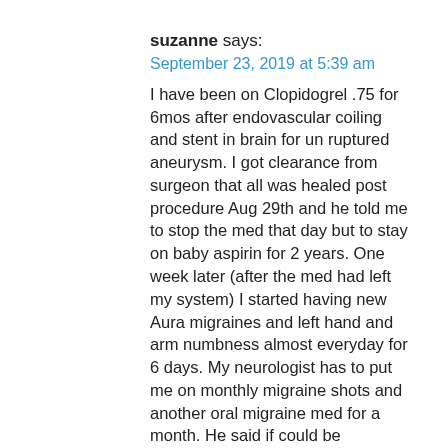suzanne says:
September 23, 2019 at 5:39 am
I have been on Clopidogrel .75 for 6mos after endovascular coiling and stent in brain for un ruptured aneurysm. I got clearance from surgeon that all was healed post procedure Aug 29th and he told me to stop the med that day but to stay on baby aspirin for 2 years. One week later (after the med had left my system) I started having new Aura migraines and left hand and arm numbness almost everyday for 6 days. My neurologist has to put me on monthly migraine shots and another oral migraine med for a month. He said if could be withdrawls from Clopidogrel causing side effects. I was not told to taper down off the drug but i would recommend. Still having a